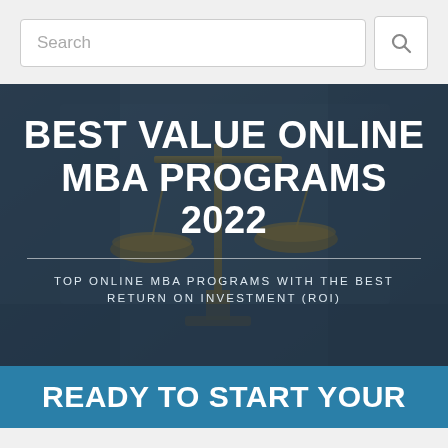Search
BEST VALUE ONLINE MBA PROGRAMS 2022
TOP ONLINE MBA PROGRAMS WITH THE BEST RETURN ON INVESTMENT (ROI)
READY TO START YOUR